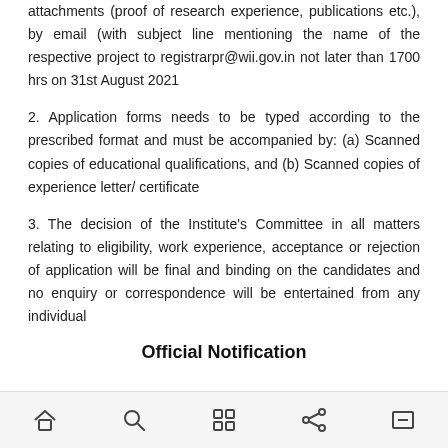attachments (proof of research experience, publications etc.), by email (with subject line mentioning the name of the respective project to registrarpr@wii.gov.in not later than 1700 hrs on 31st August 2021
2. Application forms needs to be typed according to the prescribed format and must be accompanied by: (a) Scanned copies of educational qualifications, and (b) Scanned copies of experience letter/ certificate
3. The decision of the Institute's Committee in all matters relating to eligibility, work experience, acceptance or rejection of application will be final and binding on the candidates and no enquiry or correspondence will be entertained from any individual
Official Notification
[home] [search] [grid] [share] [expand]